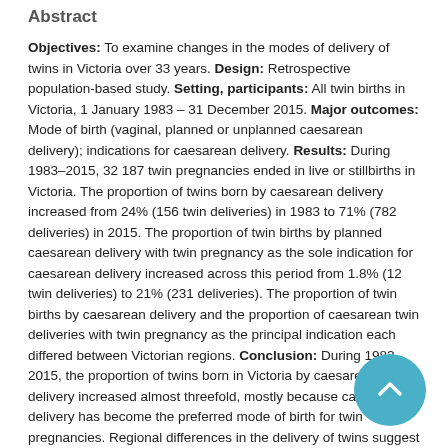Abstract
Objectives: To examine changes in the modes of delivery of twins in Victoria over 33 years. Design: Retrospective population-based study. Setting, participants: All twin births in Victoria, 1 January 1983 – 31 December 2015. Major outcomes: Mode of birth (vaginal, planned or unplanned caesarean delivery); indications for caesarean delivery. Results: During 1983–2015, 32 187 twin pregnancies ended in live or stillbirths in Victoria. The proportion of twins born by caesarean delivery increased from 24% (156 twin deliveries) in 1983 to 71% (782 deliveries) in 2015. The proportion of twin births by planned caesarean delivery with twin pregnancy as the sole indication for caesarean delivery increased across this period from 1.8% (12 twin deliveries) to 21% (231 deliveries). The proportion of twin births by caesarean delivery and the proportion of caesarean twin deliveries with twin pregnancy as the principal indication each differed between Victorian regions. Conclusion: During 1983–2015, the proportion of twins born in Victoria by caesarean delivery increased almost threefold, mostly because caesarean delivery has become the preferred mode of birth for twin pregnancies. Regional differences in the delivery of twins suggest that the number of caesarean deliveries can be reduced